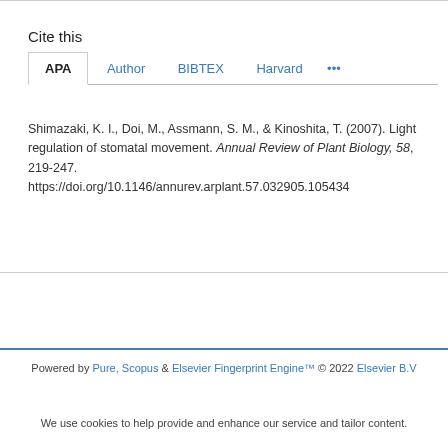Cite this
APA  Author  BIBTEX  Harvard  ...
Shimazaki, K. I., Doi, M., Assmann, S. M., & Kinoshita, T. (2007). Light regulation of stomatal movement. Annual Review of Plant Biology, 58, 219-247. https://doi.org/10.1146/annurev.arplant.57.032905.105434
Powered by Pure, Scopus & Elsevier Fingerprint Engine™ © 2022 Elsevier B.V
We use cookies to help provide and enhance our service and tailor content.